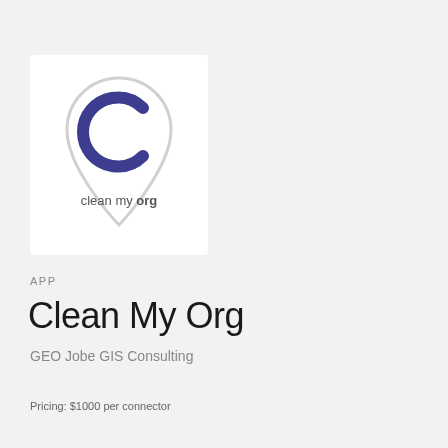[Figure (logo): Clean My Org logo: a map pin shape in light gray outline containing a dark blue/indigo letter C arc shape, with text 'clean my org' below it (org in bold)]
APP
Clean My Org
GEO Jobe GIS Consulting
Pricing: $1000 per connector